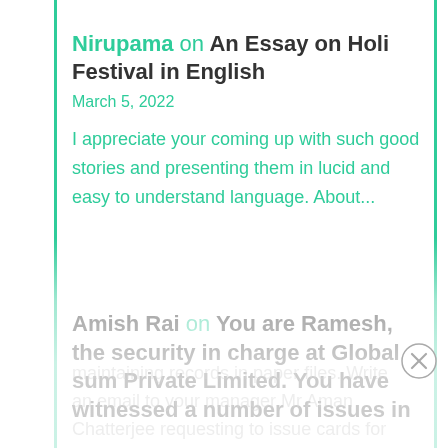Nirupama on An Essay on Holi Festival in English
March 5, 2022
I appreciate your coming up with such good stories and presenting them in lucid and easy to understand language. About...
Amish Rai on You are Ramesh, the security in charge at Global sum Private Limited. You have witnessed a number of issues in
maintaining records in paper files. Write an email to your manager Mr Aman Chatterjee requesting to issue cards for all the employees